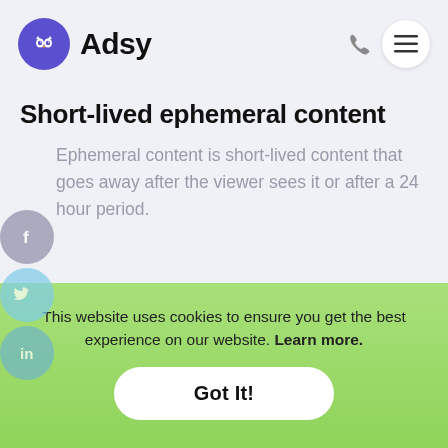[Figure (logo): Adsy logo with owl icon in purple circle and bold text 'Adsy']
Short-lived ephemeral content
Ephemeral content is short-lived content that goes away after the viewer sees it or after a 24 hour period.
This website uses cookies to ensure you get the best experience on our website. Learn more.
Got It!